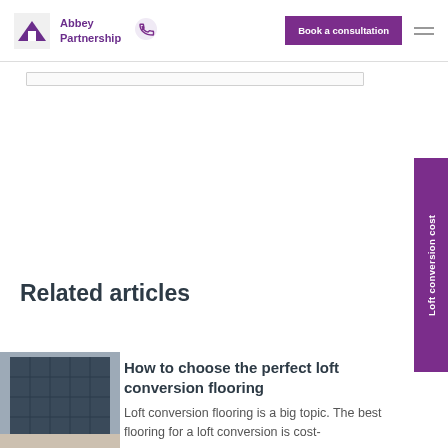Abbey Partnership | Book a consultation
Related articles
How to choose the perfect loft conversion flooring
Loft conversion flooring is a big topic. The best flooring for a loft conversion is cost-